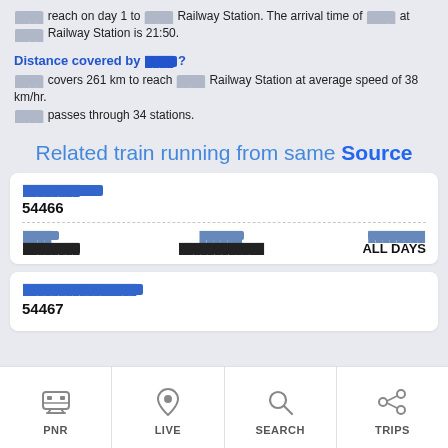[redacted] reach on day 1 to [redacted] Railway Station. The arrival time of [redacted] at [redacted] Railway Station is 21:50.
Distance covered by [redacted]?
[redacted] covers 261 km to reach [redacted] Railway Station at average speed of 38 km/hr. [redacted] passes through 34 stations.
Related train running from same Source
| Train Name | Train Number | From | To | Days |
| --- | --- | --- | --- | --- |
| [redacted] | 54466 | [redacted] | [redacted] | ALL DAYS |
| Train Name | Train Number |
| --- | --- |
| [redacted]-[redacted] [redacted] | 54467 |
[Figure (infographic): Bottom navigation bar with four icons: PNR (train icon), LIVE (location pin icon), SEARCH (magnifying glass icon), TRIPS (route/trips icon)]